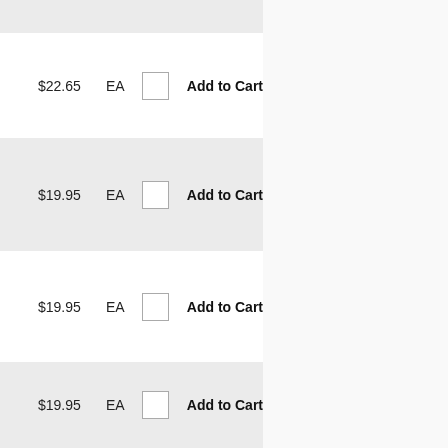$22.65   EA   Add to Cart
$19.95   EA   Add to Cart
$19.95   EA   Add to Cart
$19.95   EA   Add to Cart